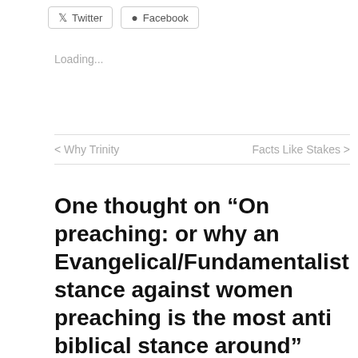[Figure (other): Twitter and Facebook share buttons at the top of the page]
Loading...
< Why Trinity    Facts Like Stakes >
One thought on “On preaching: or why an Evangelical/Fundamentalist stance against women preaching is the most anti biblical stance around”